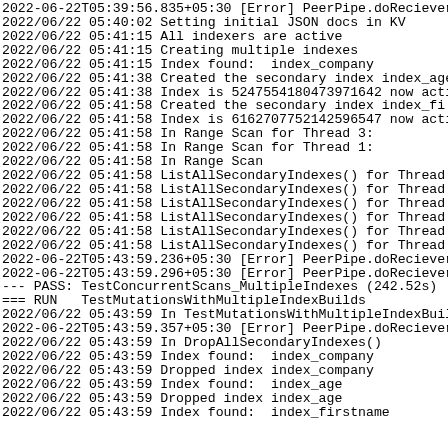2022-06-22T05:39:56.835+05:30 [Error] PeerPipe.doReciever
2022/06/22 05:40:02 Setting initial JSON docs in KV
2022/06/22 05:41:15 All indexers are active
2022/06/22 05:41:15 Creating multiple indexes
2022/06/22 05:41:15 Index found:  index_company
2022/06/22 05:41:38 Created the secondary index index_age
2022/06/22 05:41:38 Index is 5247554180473971642 now acti
2022/06/22 05:41:58 Created the secondary index index_fi
2022/06/22 05:41:58 Index is 6162707752142596547 now acti
2022/06/22 05:41:58 In Range Scan for Thread 3:
2022/06/22 05:41:58 In Range Scan for Thread 1:
2022/06/22 05:41:58 In Range Scan
2022/06/22 05:41:58 ListAllSecondaryIndexes() for Thread
2022/06/22 05:41:58 ListAllSecondaryIndexes() for Thread
2022/06/22 05:41:58 ListAllSecondaryIndexes() for Thread
2022/06/22 05:41:58 ListAllSecondaryIndexes() for Thread
2022/06/22 05:41:58 ListAllSecondaryIndexes() for Thread
2022/06/22 05:41:58 ListAllSecondaryIndexes() for Thread
2022-06-22T05:43:59.236+05:30 [Error] PeerPipe.doReciever
2022-06-22T05:43:59.296+05:30 [Error] PeerPipe.doReciever
--- PASS: TestConcurrentScans_MultipleIndexes (242.52s)
=== RUN   TestMutationsWithMultipleIndexBuilds
2022/06/22 05:43:59 In TestMutationsWithMultipleIndexBuil
2022-06-22T05:43:59.357+05:30 [Error] PeerPipe.doReciever
2022/06/22 05:43:59 In DropAllSecondaryIndexes()
2022/06/22 05:43:59 Index found:  index_company
2022/06/22 05:43:59 Dropped index index_company
2022/06/22 05:43:59 Index found:  index_age
2022/06/22 05:43:59 Dropped index index_age
2022/06/22 05:43:59 Index found:  index_firstname